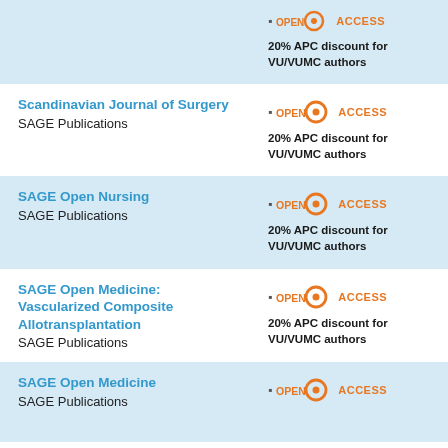20% APC discount for VU/VUMC authors
Scandinavian Journal of Surgery
SAGE Publications
20% APC discount for VU/VUMC authors
SAGE Open Nursing
SAGE Publications
20% APC discount for VU/VUMC authors
SAGE Open Medicine: Vascularized Composite Allotransplantation
SAGE Publications
20% APC discount for VU/VUMC authors
SAGE Open Medicine
SAGE Publications